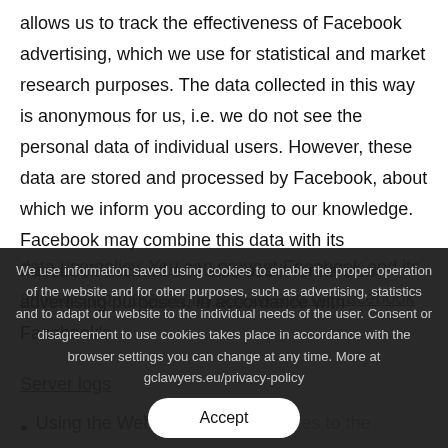allows us to track the effectiveness of Facebook advertising, which we use for statistical and market research purposes. The data collected in this way is anonymous for us, i.e. we do not see the personal data of individual users. However, these data are stored and processed by Facebook, about which we inform you according to our knowledge. Facebook may combine this data with its Facebook account and also use it for its own advertising purposes, in accordance with Facebook's
data use policy. You can prevent Facebook and its affiliates from displaying ads on and off Facebook
We use information saved using cookies to enable the proper operation of the website and for other purposes, such as advertising, statistics and to adapt our website to the individual needs of the user. Consent or disagreement to use cookies takes place in accordance with the browser settings you can change at any time. More at gclawyers.eu/privacy-policy
Accept
Server logs
Using the Website involves sending queries to the